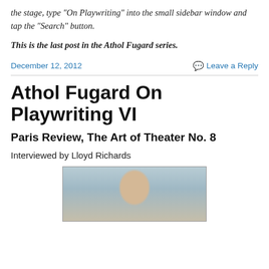the stage, type “On Playwriting” into the small sidebar window and tap the “Search” button.
This is the last post in the Athol Fugard series.
December 12, 2012    Leave a Reply
Athol Fugard On Playwriting VI
Paris Review, The Art of Theater No. 8
Interviewed by Lloyd Richards
[Figure (photo): Portrait photograph of an elderly man with white hair, appearing to be Athol Fugard]